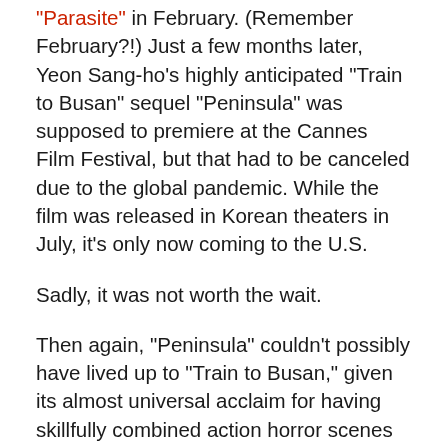"Parasite" in February. (Remember February?!) Just a few months later, Yeon Sang-ho's highly anticipated "Train to Busan" sequel "Peninsula" was supposed to premiere at the Cannes Film Festival, but that had to be canceled due to the global pandemic. While the film was released in Korean theaters in July, it's only now coming to the U.S.
Sadly, it was not worth the wait.
Then again, "Peninsula" couldn't possibly have lived up to "Train to Busan," given its almost universal acclaim for having skillfully combined action horror scenes with social commentary and unabashed emotion. Nevertheless, even with lowered expectations, Yeon's follow-up is a disappointment, from the